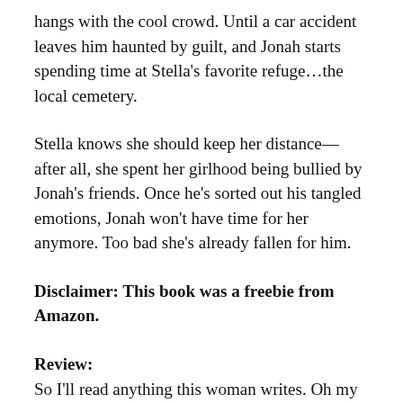hangs with the cool crowd. Until a car accident leaves him haunted by guilt, and Jonah starts spending time at Stella's favorite refuge…the local cemetery.
Stella knows she should keep her distance—after all, she spent her girlhood being bullied by Jonah's friends. Once he's sorted out his tangled emotions, Jonah won't have time for her anymore. Too bad she's already fallen for him.
Disclaimer: This book was a freebie from Amazon.
Review:
So I'll read anything this woman writes. Oh my goodness, I never would have thought that so much emotion could be in a e-novella that was